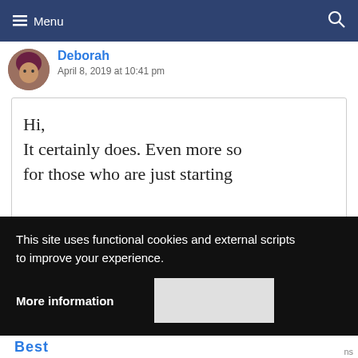≡ Menu
Deborah
April 8, 2019 at 10:41 pm
Hi,
It certainly does. Even more so for those who are just starting
This site uses functional cookies and external scripts to improve your experience.
More information